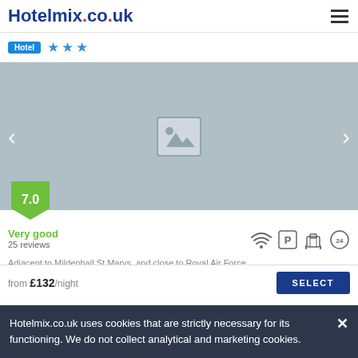Hotelmix.co.uk
Hotel ★★★
[Figure (photo): Hotel image carousel placeholder with left and right navigation arrows and a score badge showing 7.0]
Very good
25 reviews
Adjacent to Mildenhall St Marys, and close to Royal Air Force Mildenhall, this charming hotel features 15 non-smoking
Hotelmix.co.uk uses cookies that are strictly necessary for its functioning. We do not collect analytical and marketing cookies.